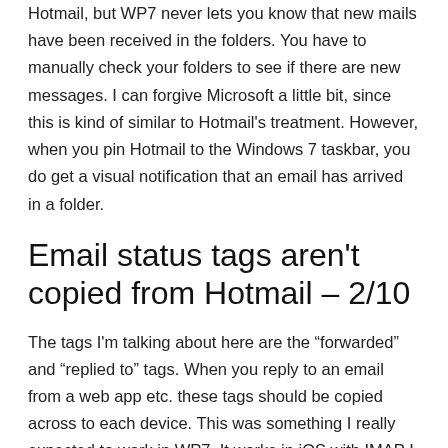Hotmail, but WP7 never lets you know that new mails have been received in the folders. You have to manually check your folders to see if there are new messages. I can forgive Microsoft a little bit, since this is kind of similar to Hotmail's treatment. However, when you pin Hotmail to the Windows 7 taskbar, you do get a visual notification that an email has arrived in a folder.
Email status tags aren't copied from Hotmail – 2/10
The tags I'm talking about here are the “forwarded” and “replied to” tags. When you reply to an email from a web app etc. these tags should be copied across to each device. This was something I really expected to work in WP7. It works in iOS with IMAP I think. Since Microsoft own the Exchange ActiveSync protocol I expected it to just work. It makes email easier to work and should really be included.